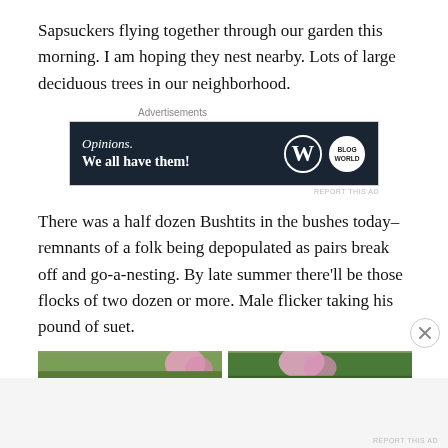Sapsuckers flying together through our garden this morning. I am hoping they nest nearby. Lots of large deciduous trees in our neighborhood.
Advertisements
[Figure (screenshot): Advertisement banner with dark navy background. Text reads 'Opinions. We all have them!' with WordPress logo and another circular logo on the right.]
There was a half dozen Bushtits in the bushes today–remnants of a folk being depopulated as pairs break off and go-a-nesting. By late summer there'll be those flocks of two dozen or more. Male flicker taking his pound of suet.
[Figure (photo): Two partial photos of garden scenes with flowers, side by side.]
Advertisements